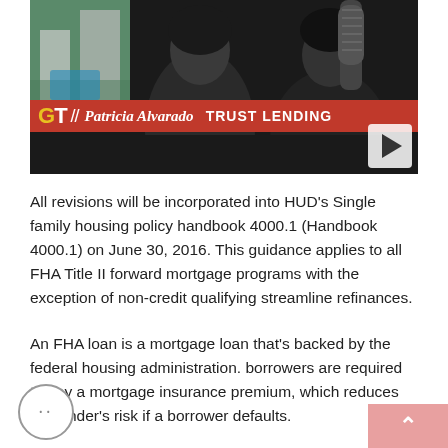[Figure (screenshot): Video thumbnail showing two people in a broadcast/podcast setting with a red lower-third bar reading 'GT // Patricia Alvarado TRUST LENDING' and a play button in the bottom right corner.]
All revisions will be incorporated into HUD's Single family housing policy handbook 4000.1 (Handbook 4000.1) on June 30, 2016. This guidance applies to all FHA Title II forward mortgage programs with the exception of non-credit qualifying streamline refinances.
An FHA loan is a mortgage loan that's backed by the federal housing administration. borrowers are required to pay a mortgage insurance premium, which reduces the lender's risk if a borrower defaults.
The low credit score and down payment requirements allow more